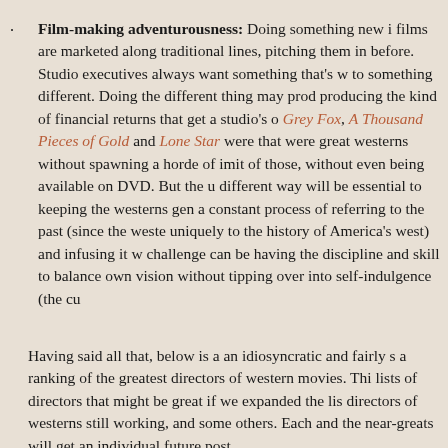Film-making adventurousness: Doing something new i films are marketed along traditional lines, pitching them in before. Studio executives always want something that's w to something different. Doing the different thing may prod producing the kind of financial returns that get a studio's o Grey Fox, A Thousand Pieces of Gold and Lone Star were that were great westerns without spawning a horde of imit of those, without even being available on DVD. But the u different way will be essential to keeping the westerns gen a constant process of referring to the past (since the west uniquely to the history of America's west) and infusing it w challenge can be having the discipline and skill to balance own vision without tipping over into self-indulgence (the cu
Having said all that, below is a an idiosyncratic and fairly s a ranking of the greatest directors of western movies. Thi lists of directors that might be great if we expanded the lis directors of westerns still working, and some others. Each and the near-greats will get an individual future post.